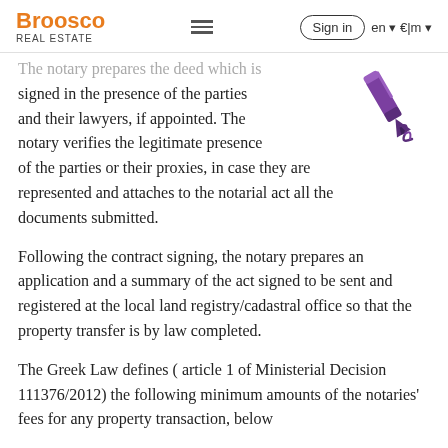Broosco REAL ESTATE | Sign in | en | €|m
The notary prepares the deed which is signed in the presence of the parties and their lawyers, if appointed. The notary verifies the legitimate presence of the parties or their proxies, in case they are represented and attaches to the notarial act all the documents submitted.
Following the contract signing, the notary prepares an application and a summary of the act signed to be sent and registered at the local land registry/cadastral office so that the property transfer is by law completed.
The Greek Law defines ( article 1 of Ministerial Decision 111376/2012) the following minimum amounts of the notaries' fees for any property transaction, below